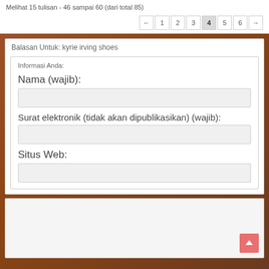Melihat 15 tulisan - 46 sampai 60 (dari total 85)
← 1 2 3 4 5 6 →
Balasan Untuk: kyrie irving shoes
Informasi Anda:
Nama (wajib):
Surat elektronik (tidak akan dipublikasikan) (wajib):
Situs Web: